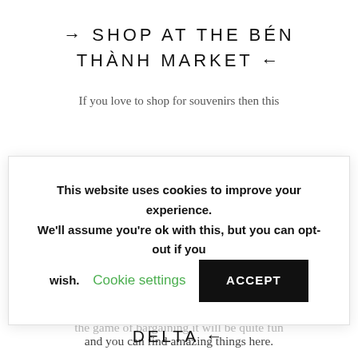→ SHOP AT THE BÉN THÀNH MARKET ←
If you love to shop for souvenirs then this
This website uses cookies to improve your experience. We'll assume you're ok with this, but you can opt-out if you wish.   Cookie settings   ACCEPT
the game of bargaining it will be quite fun
and you can find amazing things here.
→ VISIT THE MEKON DELTA ←